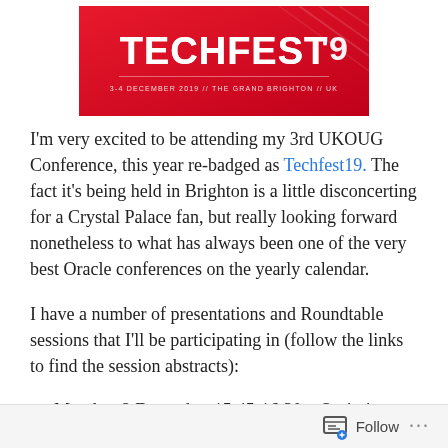[Figure (illustration): TECHFEST19 conference banner with red gradient background. Large white bold text reads 'TECHFEST 19'. Subtext reads '3-4 DECEMBER 2019 // THE GRAND BRIGHTON // UK'.]
I'm very excited to be attending my 3rd UKOUG Conference, this year re-badged as Techfest19. The fact it's being held in Brighton is a little disconcerting for a Crystal Palace fan, but really looking forward nonetheless to what has always been one of the very best Oracle conferences on the yearly calendar.
I have a number of presentations and Roundtable sessions that I'll be participating in (follow the links to find the session abstracts):
Monday, 2 December 15:45-16:30 – Optimizer
Follow